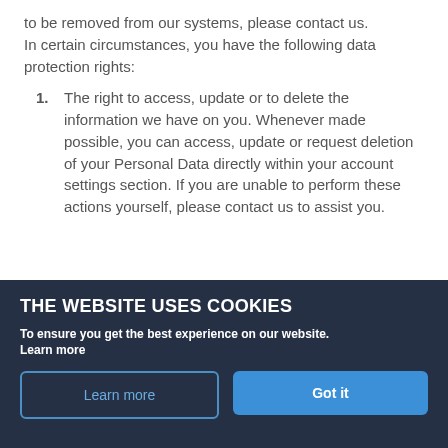to be removed from our systems, please contact us.
In certain circumstances, you have the following data protection rights:
1. The right to access, update or to delete the information we have on you. Whenever made possible, you can access, update or request deletion of your Personal Data directly within your account settings section. If you are unable to perform these actions yourself, please contact us to assist you.
THE WEBSITE USES COOKIES
To ensure you get the best experience on our website. Learn more